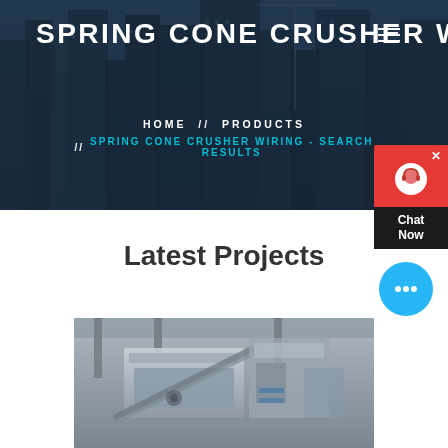SPRING CONE CRUSHER WIRING
HOME // PRODUCTS // SPRING CONE CRUSHER WIRING - SEARCH RESULTS
Latest Projects
[Figure (photo): Industrial machinery / cone crusher equipment in a factory setting]
[Figure (screenshot): Chat Now customer service widget with red header and dark body]
[Figure (illustration): Blue chat bubble icon with ellipsis (...)]